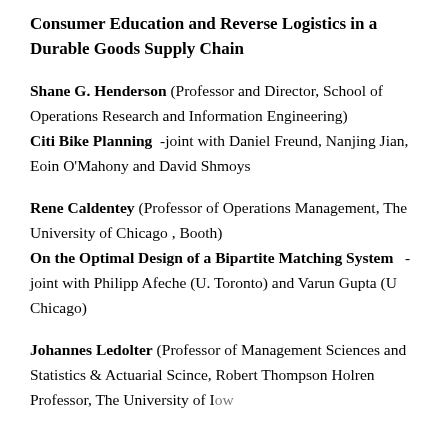Consumer Education and Reverse Logistics in a Durable Goods Supply Chain
Shane G. Henderson (Professor and Director, School of Operations Research and Information Engineering) Citi Bike Planning -joint with Daniel Freund, Nanjing Jian, Eoin O'Mahony and David Shmoys
Rene Caldentey (Professor of Operations Management, The University of Chicago , Booth) On the Optimal Design of a Bipartite Matching System -joint with Philipp Afeche (U. Toronto) and Varun Gupta (U Chicago)
Johannes Ledolter (Professor of Management Sciences and Statistics & Actuarial Scince, Robert Thompson Holren Professor, The University of Iowa)